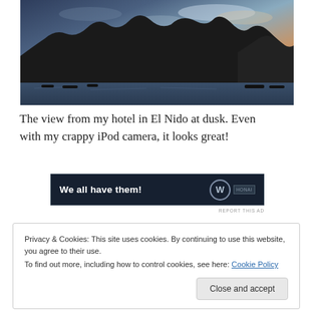[Figure (photo): Landscape photo of El Nido bay at dusk showing silhouetted mountains, water with boats, and colorful sky with clouds]
The view from my hotel in El Nido at dusk. Even with my crappy iPod camera, it looks great!
[Figure (other): Advertisement banner: dark navy background with white bold text 'We all have them!' and a W logo circle with 'HONAI' text]
REPORT THIS AD
Privacy & Cookies: This site uses cookies. By continuing to use this website, you agree to their use.
To find out more, including how to control cookies, see here: Cookie Policy
Close and accept